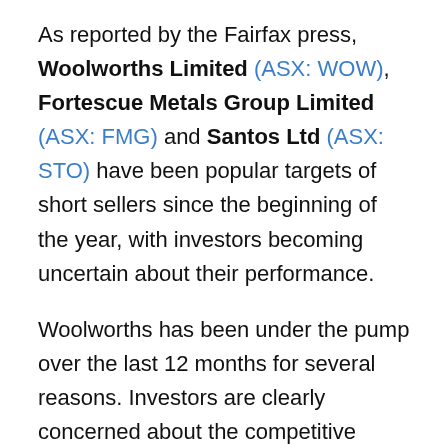As reported by the Fairfax press, Woolworths Limited (ASX: WOW), Fortescue Metals Group Limited (ASX: FMG) and Santos Ltd (ASX: STO) have been popular targets of short sellers since the beginning of the year, with investors becoming uncertain about their performance.
Woolworths has been under the pump over the last 12 months for several reasons. Investors are clearly concerned about the competitive threat posed by Costco and Aldi and the shares have also been weighed down by the company's underperforming Masters Home Improvement chain. It has also posted weaker sales than rival